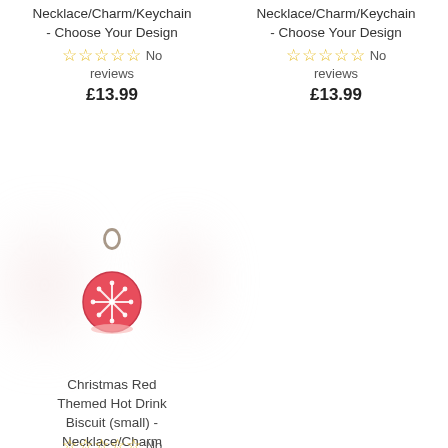Necklace/Charm/Keychain - Choose Your Design
☆☆☆☆☆ No reviews
£13.99
Necklace/Charm/Keychain - Choose Your Design
☆☆☆☆☆ No reviews
£13.99
[Figure (photo): Small red Christmas-themed hot drink mug charm with snowflake decoration and metal loop, shown on white background]
Christmas Red Themed Hot Drink Biscuit (small) - Necklace/Charm
☆☆☆☆☆ No reviews
£13.99